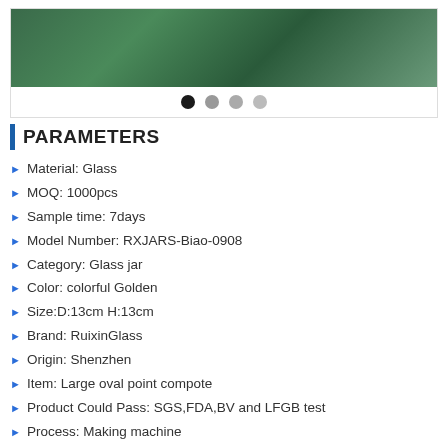[Figure (photo): Product photo of a glass jar/compote with decorative elements, shown in a carousel with 4 navigation dots]
PARAMETERS
Material: Glass
MOQ: 1000pcs
Sample time: 7days
Model Number: RXJARS-Biao-0908
Category: Glass jar
Color: colorful Golden
Size:D:13cm H:13cm
Brand: RuixinGlass
Origin: Shenzhen
Item: Large oval point compote
Product Could Pass: SGS,FDA,BV and LFGB test
Process: Making machine